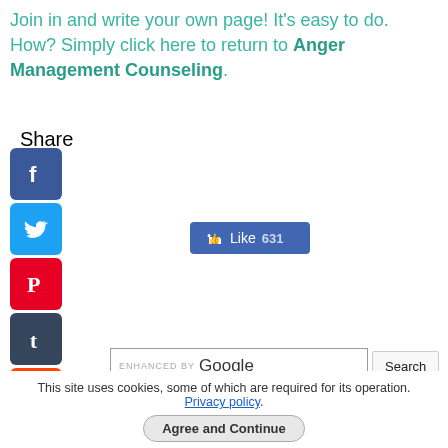Join in and write your own page! It's easy to do. How? Simply click here to return to Anger Management Counseling.
Share
[Figure (infographic): Social media share icons: Facebook, Twitter, Pinterest, Tumblr, Reddit, WhatsApp, Facebook Messenger]
[Figure (infographic): Facebook Like button showing 631 likes]
[Figure (infographic): Google search bar with 'ENHANCED BY Google' label and Search button]
Subscribe To The Newsletter
This site uses cookies, some of which are required for its operation. Privacy policy.
Agree and Continue